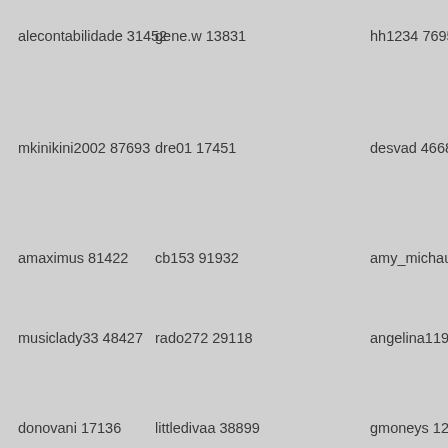alecontabilidade 31452
gene.w 13831
hh1234 76953
mkinikini2002 87693
dre01 17451
desvad 46684
amaximus 81422
cb153 91932
amy_michaud26
musiclady33 48427
rado272 29118
angelina11991 3
donovani 17136
littledivaa 38899
gmoneys 12784